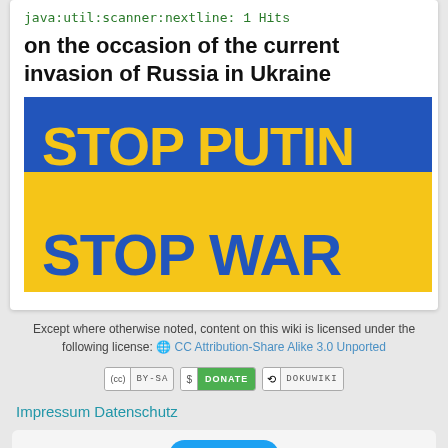java:util:scanner:nextline: 1 Hits
on the occasion of the current invasion of Russia in Ukraine
[Figure (photo): Photo of a blue and yellow flag (Ukrainian colors) with text 'STOP PUTIN STOP WAR' written in large yellow and blue letters]
Except where otherwise noted, content on this wiki is licensed under the following license: CC Attribution-Share Alike 3.0 Unported
[Figure (other): Three badge icons: CC BY-SA license badge, green Donate badge, and DokuWiki badge]
Impressum Datenschutz
[Figure (other): Tweet button widget area]